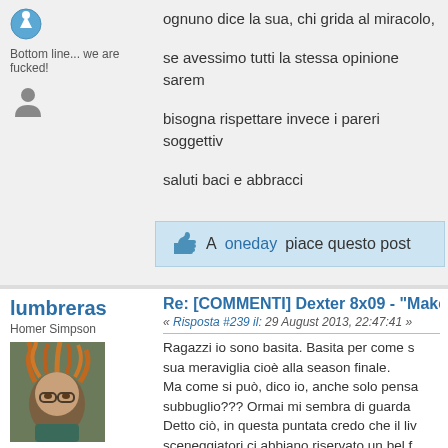Bottom line... we are fucked!
ognuno dice la sua, chi grida al miracolo,
se avessimo tutti la stessa opinione sarem
bisogna rispettare invece i pareri soggettiv
saluti baci e abbracci
A oneday piace questo post
lumbreras
Homer Simpson
Post: 26
Sesso:
Re: [COMMENTI] Dexter 8x09 - "Make Yo
« Risposta #239 il: 29 August 2013, 22:47:41 »
Ragazzi io sono basita. Basita per come s sua meraviglia cioè alla season finale. Ma come si può, dico io, anche solo pensa subbuglio??? Ormai mi sembra di guarda Detto ciò, in questa puntata credo che il liv sceneggiatori ci abbiano riservato un bel f Ho sempre pensato al finale di Dexter con